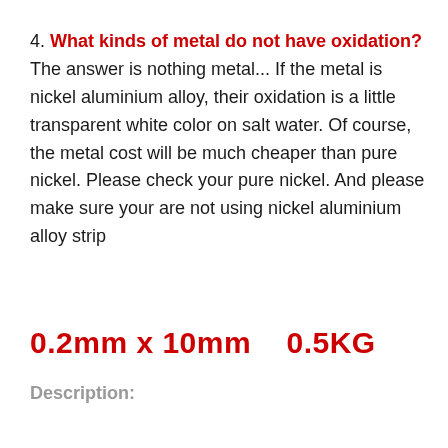4. What kinds of metal do not have oxidation? The answer is nothing metal... If the metal is nickel aluminium alloy, their oxidation is a little transparent white color on salt water. Of course, the metal cost will be much cheaper than pure nickel. Please check your pure nickel. And please make sure your are not using nickel aluminium alloy strip
0.2mm x 10mm    0.5KG
Description: